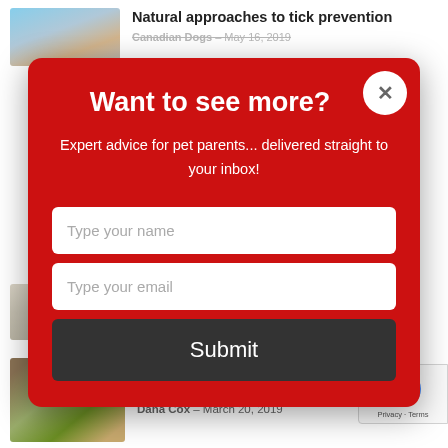Natural approaches to tick prevention
Canadian Dogs · May 16, 2019
[Figure (screenshot): Modal popup overlay on a website showing a newsletter subscription form with red background, title 'Want to see more?', subtitle 'Expert advice for pet parents... delivered straight to your inbox!', input fields for name and email, and a Submit button.]
Want to see more?
Expert advice for pet parents... delivered straight to your inbox!
Type your name
Type your email
Submit
6 things you should know about canna dogs
Dana Cox · March 20, 2019